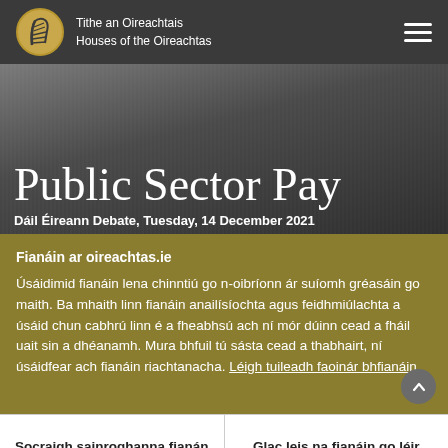Tithe an Oireachtais
Houses of the Oireachtas
Public Sector Pay
Dáil Éireann Debate, Tuesday, 14 December 2021
Fianáin ar oireachtas.ie
Úsáidimid fianáin lena chinntiú go n-oibríonn ár suíomh gréasáin go maith. Ba mhaith linn fianáin anailísíochta agus feidhmiúlachta a úsáid chun cabhrú linn é a fheabhsú ach ní mór dúinn cead a fháil uait sin a dhéanamh. Mura bhfuil tú sásta cead a thabhairt, ní úsáidfear ach fianáin riachtanacha. Léigh tuileadh faoinár bhfianáin
Socraigh sainroghanna fianán
Glac leis na fianáin go léir